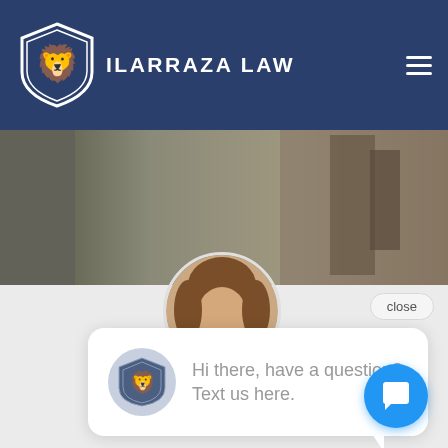ILARRAZA LAW
[Figure (screenshot): Website screenshot of Ilarraza Law firm page showing the navigation header with logo and hamburger menu, a hero background image with Lady Justice statue, and a chat widget with message 'Hi there, have a question? Text us here.' along with a circular photo of a woman and a blue chat button.]
close
Hi there, have a question? Text us here.